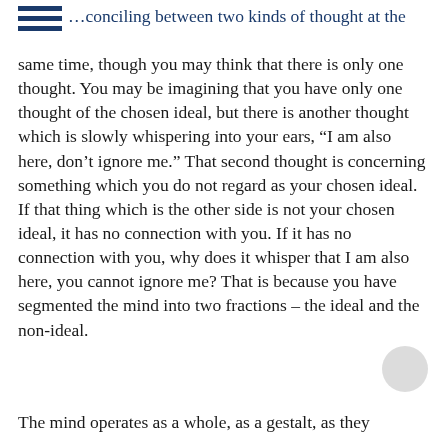…conciling between two kinds of thought at the
same time, though you may think that there is only one thought. You may be imagining that you have only one thought of the chosen ideal, but there is another thought which is slowly whispering into your ears, “I am also here, don’t ignore me.” That second thought is concerning something which you do not regard as your chosen ideal. If that thing which is the other side is not your chosen ideal, it has no connection with you. If it has no connection with you, why does it whisper that I am also here, you cannot ignore me? That is because you have segmented the mind into two fractions – the ideal and the non-ideal.
The mind operates as a whole, as a gestalt, as they